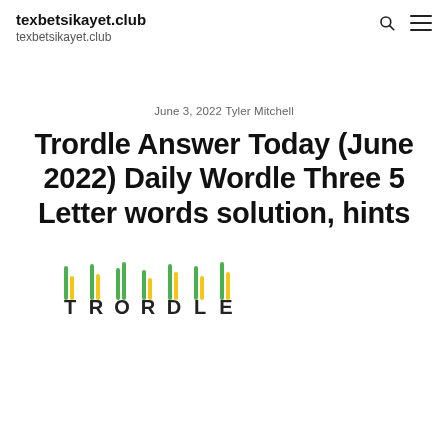texbetsikayet.club
texbetsikayet.club
June 3, 2022  Tyler Mitchell
Trordle Answer Today (June 2022) Daily Wordle Three 5 Letter words solution, hints
[Figure (logo): Trordle logo with colored vertical bars above each letter T R O R D L E, bars in green and yellow]